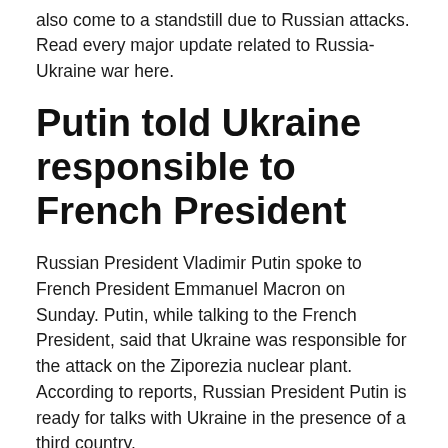also come to a standstill due to Russian attacks. Read every major update related to Russia-Ukraine war here.
Putin told Ukraine responsible to French President
Russian President Vladimir Putin spoke to French President Emmanuel Macron on Sunday. Putin, while talking to the French President, said that Ukraine was responsible for the attack on the Ziporezia nuclear plant. According to reports, Russian President Putin is ready for talks with Ukraine in the presence of a third country.